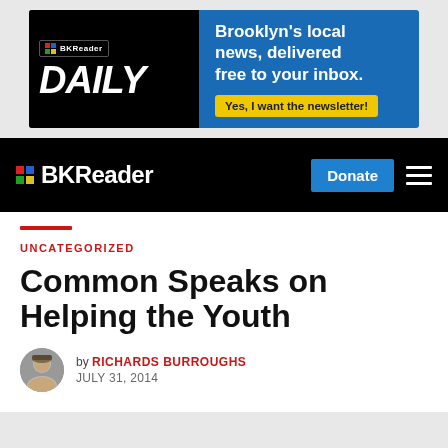[Figure (screenshot): BKReader Daily newsletter advertisement banner with blue background. Left side has black panel with BKReader logo and 'DAILY' in large white italic text. Right side shows 'Brooklyn's local news, delivered free to your inbox.' with yellow 'Yes, I want the newsletter!' button.]
BKReader | Donate
UNCATEGORIZED
Common Speaks on Helping the Youth
by RICHARDS BURROUGHS
JULY 31, 2014